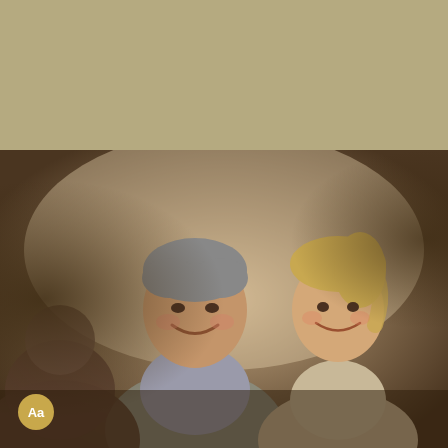Contact Us | 701-237-6441 | Facebook
Learn More
[Figure (logo): Boulger Funeral Home + Cremation Services logo with circular icon]
[Figure (photo): Middle-aged couple smiling, seated across from a professional in a consultation setting]
Aa